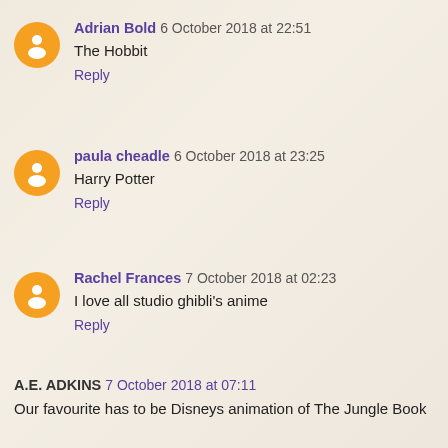Adrian Bold 6 October 2018 at 22:51
The Hobbit
Reply
paula cheadle 6 October 2018 at 23:25
Harry Potter
Reply
Rachel Frances 7 October 2018 at 02:23
I love all studio ghibli's anime
Reply
A.E. ADKINS 7 October 2018 at 07:11
Our favourite has to be Disneys animation of The Jungle Book